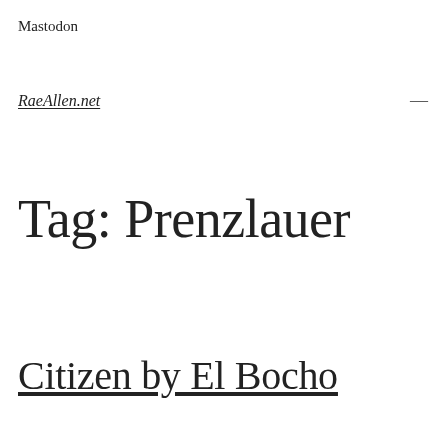Mastodon
RaeAllen.net
Tag: Prenzlauer
Citizen by El Bocho